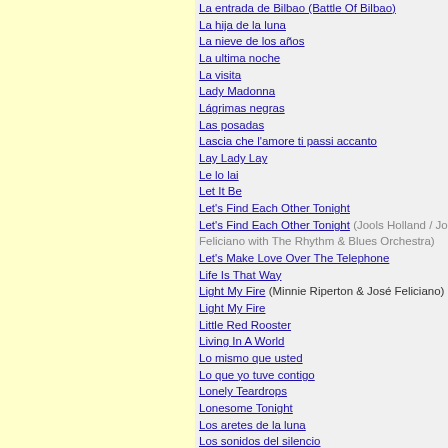La entrada de Bilbao (Battle Of Bilbao)
La hija de la luna
La nieve de los años
La ultima noche
La visita
Lady Madonna
Lágrimas negras
Las posadas
Lascia che l'amore ti passi accanto
Lay Lady Lay
Le lo lai
Let It Be
Let's Find Each Other Tonight
Let's Find Each Other Tonight (Jools Holland / Jos Feliciano with The Rhythm & Blues Orchestra)
Let's Make Love Over The Telephone
Life Is That Way
Light My Fire (Minnie Riperton & José Feliciano)
Light My Fire
Little Red Rooster
Living In A World
Lo mismo que usted
Lo que yo tuve contigo
Lonely Teardrops
Lonesome Tonight
Los aretes de la luna
Los sonidos del silencio
Love Comes From Unexpected Places
Love Is Not a War
Love Me Tender
Lover's Vows
Loving Her Was Easier
Luz y sombras
Madrigal
Magnolia
Malagueña
Malas costumbres
Mama, Don't Allow It